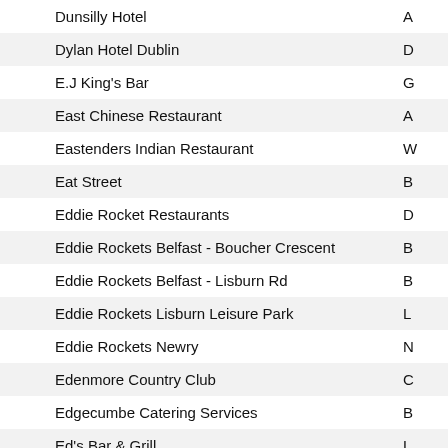| Name | Location |
| --- | --- |
| Dunsilly Hotel | A |
| Dylan Hotel Dublin | D |
| E.J King's Bar | G |
| East Chinese Restaurant | A |
| Eastenders Indian Restaurant | W |
| Eat Street | B |
| Eddie Rocket Restaurants | D |
| Eddie Rockets Belfast - Boucher Crescent | B |
| Eddie Rockets Belfast - Lisburn Rd | B |
| Eddie Rockets Lisburn Leisure Park | L |
| Eddie Rockets Newry | N |
| Edenmore Country Club | C |
| Edgecumbe Catering Services | B |
| Ed's Bar & Grill | L |
| Eglantine Bar | B |
| Eight South | C |
| Eighty One | H |
| El Chapo | B |